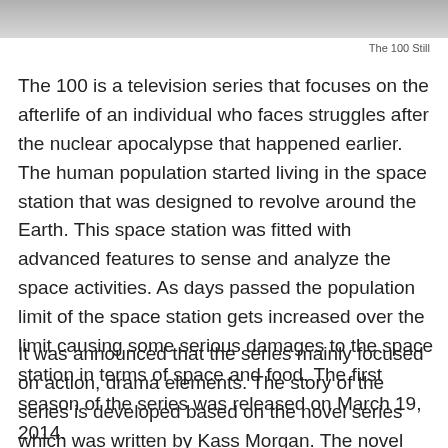[Figure (photo): Grayscale image strip at top of page, partial view of The 100 still image]
The 100 Still
The 100 is a television series that focuses on the afterlife of an individual who faces struggles after the nuclear apocalypse that happened earlier. The human population started living in the space station that was designed to revolve around the Earth. This space station was fitted with advanced features to sense and analyze the space activities. As days passed the population limit of the space station gets increased over the limit causing some serious damages to the space station in terms of space and food. The first season of the series was released on March 19, 2014.
It was announced that the series mainly focused on action, drama elements. The story of the series is developed based on the novel series which was written by Kass Morgan. The novel has been changed to make the television series